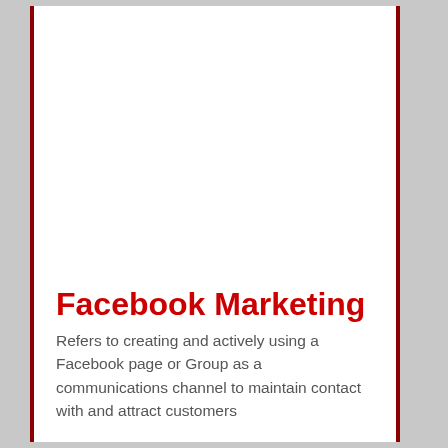Facebook Marketing
Refers to creating and actively using a Facebook page or Group as a communications channel to maintain contact with and attract customers